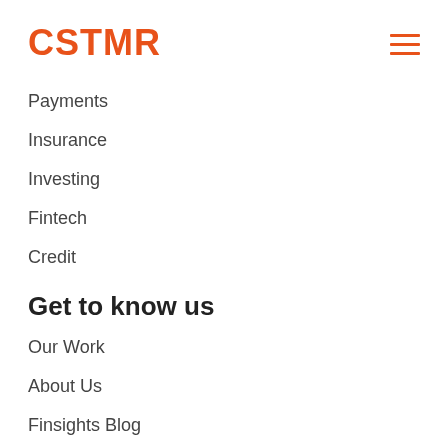CSTMR
Payments
Insurance
Investing
Fintech
Credit
Get to know us
Our Work
About Us
Finsights Blog
Join Us
Get in touch